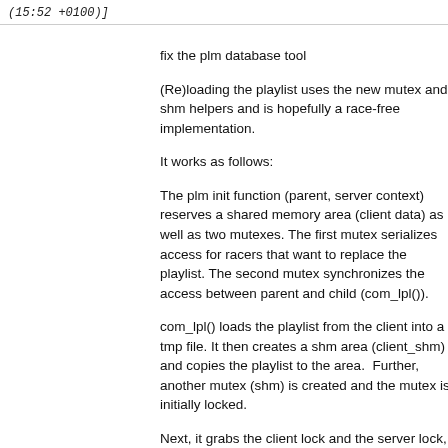(15:52 +0100)]
fix the plm database tool
(Re)loading the playlist uses the new mutex and shm helpers and is hopefully a race-free implementation.
It works as follows:
The plm init function (parent, server context) reserves a shared memory area (client data) as well as two mutexes. The first mutex serializes access for racers that want to replace the playlist. The second mutex synchronizes the access between parent and child (com_lpl()).
com_lpl() loads the playlist from the client into a tmp file. It then creates a shm area (client_shm) and copies the playlist to the area.  Further, another mutex (shm) is created and the mutex is initially locked.
Next, it grabs the client lock and the server lock, and updates client_data with the id of client_shm. Then the parent is woken up (SIGUSR1) and the server lock is released. Then it finally goes to sleep by acquiring the shm lock.
In this situation, only the parent may run. It grabs the server lock, reads client_data to attach client_shm, and reloads the playlist with data from client_shm. When done, the parent detaches client_shm, and drops the shm...